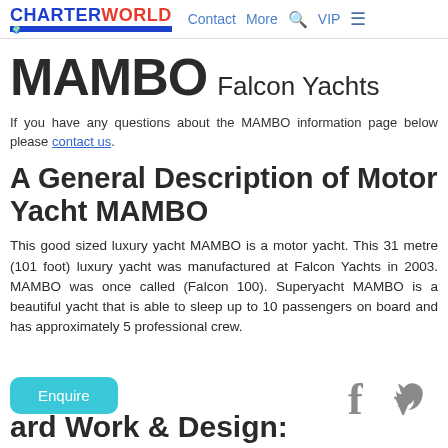CHARTERWORLD | Contact | More | VIP
MAMBO Falcon Yachts
If you have any questions about the MAMBO information page below please contact us.
A General Description of Motor Yacht MAMBO
This good sized luxury yacht MAMBO is a motor yacht. This 31 metre (101 foot) luxury yacht was manufactured at Falcon Yachts in 2003. MAMBO was once called (Falcon 100). Superyacht MAMBO is a beautiful yacht that is able to sleep up to 10 passengers on board and has approximately 5 professional crew.
...ard Work & Design: